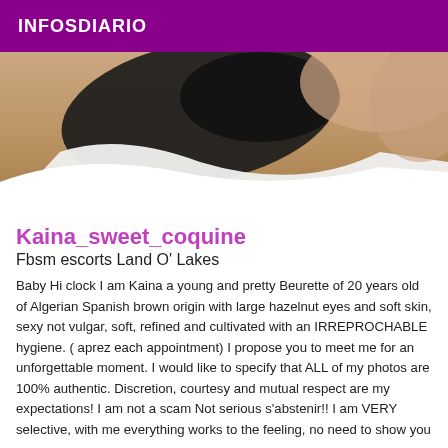INFOSDIARIO
[Figure (photo): Partial photo of a woman wearing a black bra with white fabric/sheet, cropped at neck, suggestive adult content]
Kaina_sweet_coquine
Fbsm escorts Land O' Lakes
Baby Hi clock I am Kaina a young and pretty Beurette of 20 years old of Algerian Spanish brown origin with large hazelnut eyes and soft skin, sexy not vulgar, soft, refined and cultivated with an IRREPROCHABLE hygiene. ( aprez each appointment) I propose you to meet me for an unforgettable moment. I would like to specify that ALL of my photos are 100% authentic. Discretion, courtesy and mutual respect are my expectations! I am not a scam Not serious s'abstenir!! I am VERY selective, with me everything works to the feeling, no need to show you